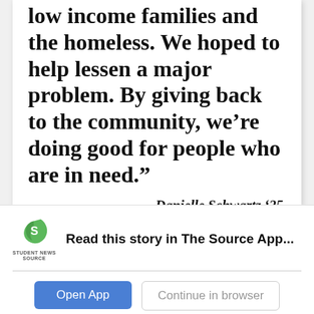low income families and the homeless. We hoped to help lessen a major problem. By giving back to the community, we’re doing good for people who are in need.”
— Danielle Schwartz ’25
Read this story in The Source App...
Open App
Continue in browser